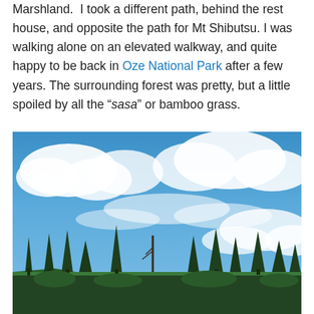Marshland.  I took a different path, behind the rest house, and opposite the path for Mt Shibutsu. I was walking alone on an elevated walkway, and quite happy to be back in Oze National Park after a few years. The surrounding forest was pretty, but a little spoiled by all the “sasa” or bamboo grass.
[Figure (photo): Photograph of a forest landscape with tall coniferous trees silhouetted against a dramatic blue sky with large white clouds. The scene shows trees of varying heights along the horizon line, with a bright blue sky above.]